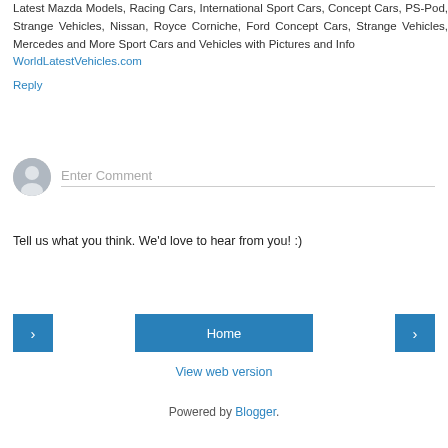Latest Mazda Models, Racing Cars, International Sport Cars, Concept Cars, PS-Pod, Strange Vehicles, Nissan, Royce Corniche, Ford Concept Cars, Strange Vehicles, Mercedes and More Sport Cars and Vehicles with Pictures and Info
WorldLatestVehicles.com
Reply
[Figure (other): User avatar circle placeholder icon for comment entry field]
Enter Comment
Tell us what you think. We'd love to hear from you! :)
< (previous navigation button)
Home
> (next navigation button)
View web version
Powered by Blogger.